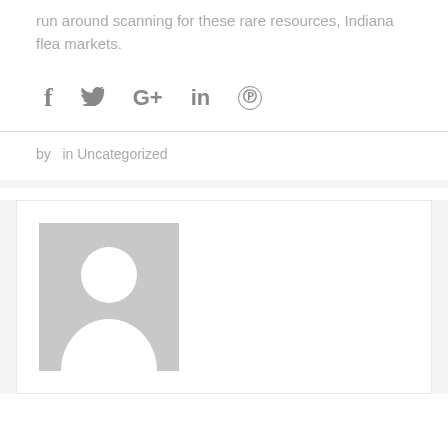run around scanning for these rare resources, Indiana flea markets.
[Figure (other): Social sharing icons: Facebook (f), Twitter (bird/y), Google+ (G+), LinkedIn (in), Pinterest (circle with p symbol)]
by  in Uncategorized
[Figure (photo): Author avatar placeholder: grey rectangle with white silhouette of a person (head and shoulders)]